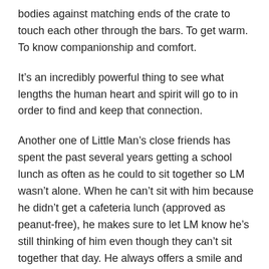bodies against matching ends of the crate to touch each other through the bars. To get warm. To know companionship and comfort.
It’s an incredibly powerful thing to see what lengths the human heart and spirit will go to in order to find and keep that connection.
Another one of Little Man’s close friends has spent the past several years getting a school lunch as often as he could to sit together so LM wasn’t alone. When he can’t sit with him because he didn’t get a cafeteria lunch (approved as peanut-free), he makes sure to let LM know he’s still thinking of him even though they can’t sit together that day. He always offers a smile and encouragement, even a hug.